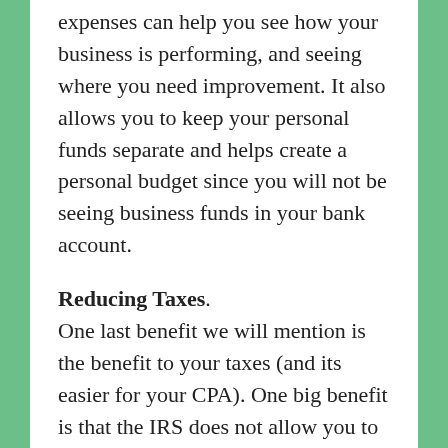expenses can help you see how your business is performing, and seeing where you need improvement. It also allows you to keep your personal funds separate and helps create a personal budget since you will not be seeing business funds in your bank account.
Reducing Taxes.
One last benefit we will mention is the benefit to your taxes (and its easier for your CPA). One big benefit is that the IRS does not allow you to deduct business expenses that you cannot document. When you have one business account for personal and business expenses, it is hard to explain to the IRS what you need to deduct and for what purpose. The IRS is a lover of documentation, and by keeping track of your business income and expenses in its own business account is crucial to help minimize taxes and